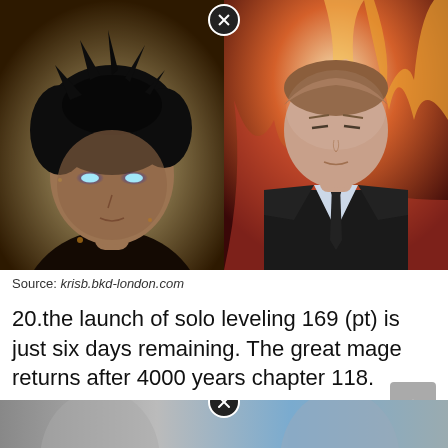[Figure (illustration): Two anime/manhwa character illustrations side by side. Left: a dark-haired male character with glowing blue eyes against a warm golden background. Right: a man in a black suit with brown hair against a fiery red/orange background with flames. A close button (X circle) appears at the top center between the two panels.]
Source: krisb.bkd-london.com
20.the launch of solo leveling 169 (pt) is just six days remaining. The great mage returns after 4000 years chapter 118.
[Figure (illustration): Bottom strip showing partial anime characters with a close button (X circle) at the top center. Characters appear to be wearing blue/grey attire.]